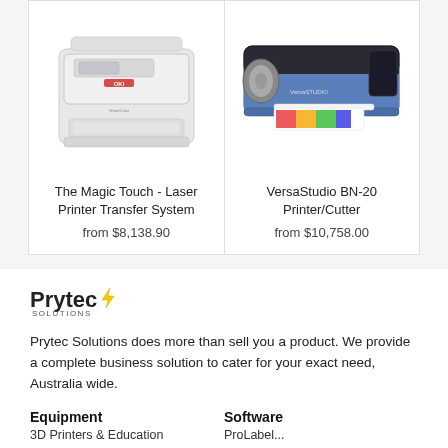[Figure (photo): White laser printer (The Magic Touch brand) on white background]
The Magic Touch - Laser Printer Transfer System
from $8,138.90
[Figure (photo): Roland VersaStudio BN-20 blue and grey printer/cutter with colorful printed output]
VersaStudio BN-20 Printer/Cutter
from $10,758.00
[Figure (logo): Prytec Solutions logo with yellow lightning bolt]
Prytec Solutions does more than sell you a product. We provide a complete business solution to cater for your exact need, Australia wide.
Equipment
Software